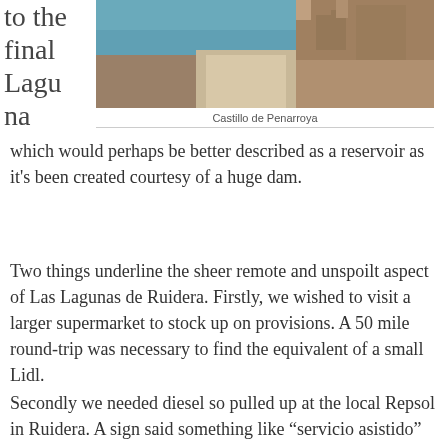[Figure (photo): Photo of Castillo de Penarroya showing stone walls/fortification with a walkway and blue water/lake in the background]
Castillo de Penarroya
to the final Laguna which would perhaps be better described as a reservoir as it's been created courtesy of a huge dam.
Two things underline the sheer remote and unspoilt aspect of Las Lagunas de Ruidera. Firstly, we wished to visit a larger supermarket to stock up on provisions. A 50 mile round-trip was necessary to find the equivalent of a small Lidl.
Secondly we needed diesel so pulled up at the local Repsol in Ruidera. A sign said something like “servicio asistido” which we